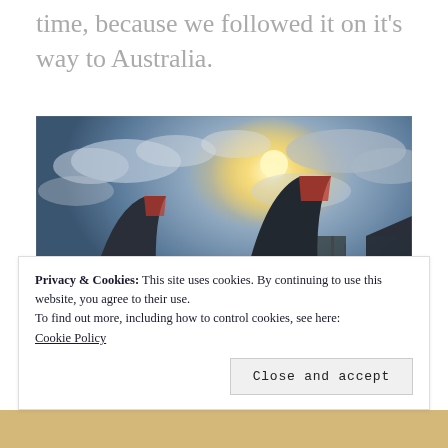time, because we followed it on it's way to Australia.
[Figure (photo): Airport tarmac scene showing two large Emirates aircraft tails silhouetted against a dramatic cloudy sky with sun breaking through. Ground vehicles and airport buildings visible in the background.]
Privacy & Cookies: This site uses cookies. By continuing to use this website, you agree to their use.
To find out more, including how to control cookies, see here:
Cookie Policy